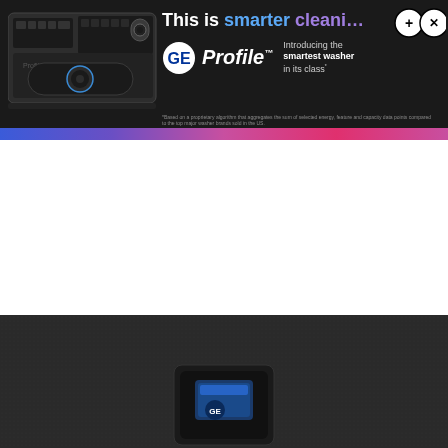[Figure (advertisement): GE Profile washer advertisement banner with dark background, washer image on left, headline 'This is smarter cleaning' in white/blue/purple, GE Profile logo, 'Introducing the smartest washer in its class' tagline, and close/expand buttons. Below is white space, then a dark product photo section showing a GE Profile washer detail.]